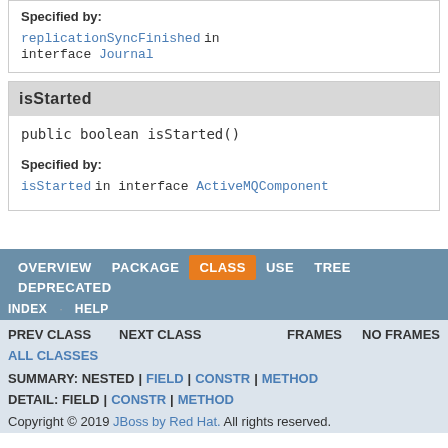Specified by: replicationSyncFinished in interface Journal
isStarted
public boolean isStarted()
Specified by: isStarted in interface ActiveMQComponent
OVERVIEW PACKAGE CLASS USE TREE DEPRECATED INDEX HELP PREV CLASS NEXT CLASS FRAMES NO FRAMES ALL CLASSES SUMMARY: NESTED | FIELD | CONSTR | METHOD DETAIL: FIELD | CONSTR | METHOD Copyright © 2019 JBoss by Red Hat. All rights reserved.